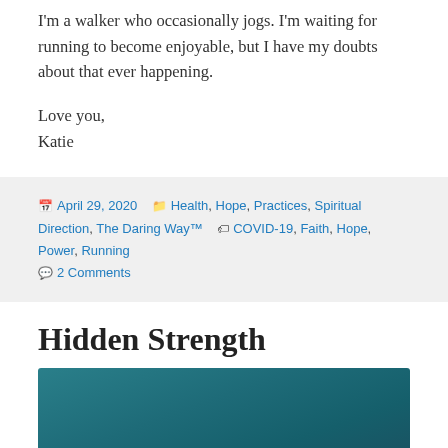I'm a walker who occasionally jogs. I'm waiting for running to become enjoyable, but I have my doubts about that ever happening.
Love you,
Katie
Posted April 29, 2020 Categories Health, Hope, Practices, Spiritual Direction, The Daring Way™ Tags COVID-19, Faith, Hope, Power, Running 2 Comments
Hidden Strength
[Figure (photo): Teal/dark teal gradient image, partially visible at bottom of page]